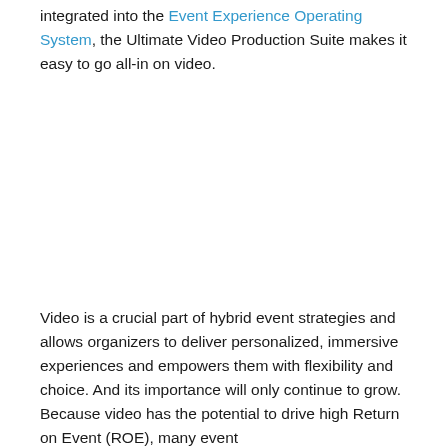integrated into the Event Experience Operating System, the Ultimate Video Production Suite makes it easy to go all-in on video.
Video is a crucial part of hybrid event strategies and allows organizers to deliver personalized, immersive experiences and empowers them with flexibility and choice. And its importance will only continue to grow. Because video has the potential to drive high Return on Event (ROE), many event